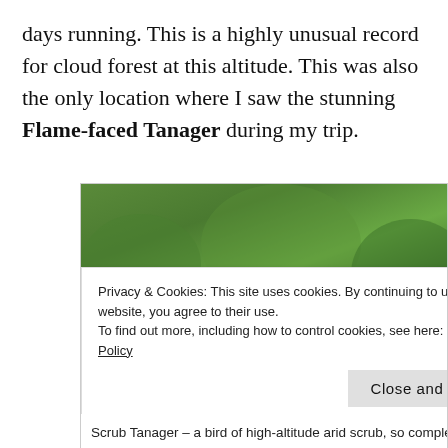days running. This is a highly unusual record for cloud forest at this altitude. This was also the only location where I saw the stunning Flame-faced Tanager during my trip.
[Figure (photo): A bird (Scrub Tanager) with an orange/yellow head and blue-grey body perched, with a blurred green forest background and a banana visible to the right.]
Privacy & Cookies: This site uses cookies. By continuing to use this website, you agree to their use. To find out more, including how to control cookies, see here: Cookie Policy
Scrub Tanager – a bird of high-altitude arid scrub, so complete